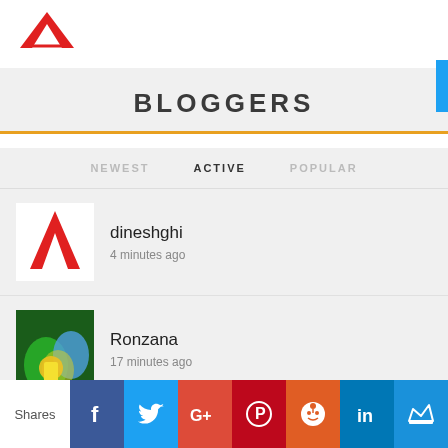[Figure (logo): Red angular logo mark (letter A style) in top left]
BLOGGERS
NEWEST   ACTIVE   POPULAR
dineshghi
4 minutes ago
Ronzana
17 minutes ago
Dipu chaurasiya
Shares  [Facebook] [Twitter] [Google+] [Pinterest] [Reddit] [LinkedIn] [Crown]